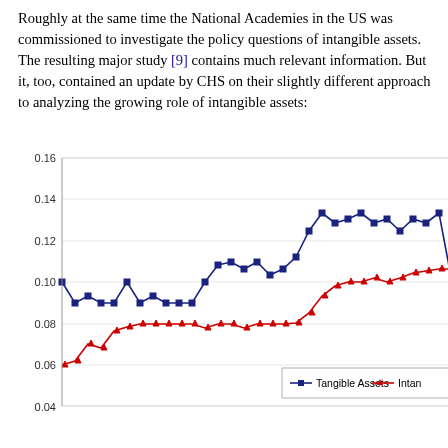Roughly at the same time the National Academies in the US was commissioned to investigate the policy questions of intangible assets. The resulting major study [9] contains much relevant information. But it, too, contained an update by CHS on their slightly different approach to analyzing the growing role of intangible assets:
[Figure (line-chart): Line chart showing two series over time: Tangible Assets (dark blue line with square markers, ranging roughly 0.10–0.145) and Intangible Assets (red line with triangle markers, ranging roughly 0.05–0.11). The chart is partially cut off at the right and bottom edges. Y-axis labels visible: 0.04, 0.06, 0.08, 0.10, 0.12, 0.14, 0.16. A legend box is visible in the lower right showing the two series.]